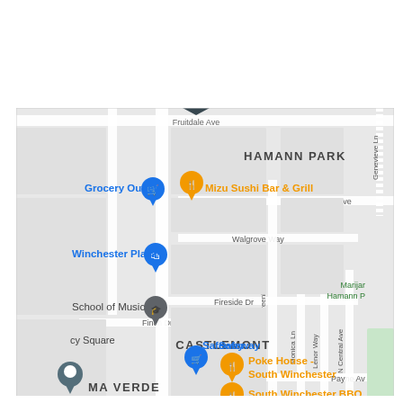[Figure (map): Google Maps screenshot showing a neighborhood map with streets, landmarks, and place markers. Visible locations include Grocery Outlet, Mizu Sushi Bar & Grill, Winchester Plaza, School of Music, Safeway, Poke House - South Winchester, South Winchester BBQ. Neighborhoods labeled: HAMANN PARK, CASTLEMONT, MA VERDE. Streets include Eden Ave, Walgrove Way, Clifton Ave, Fireside Dr, Finch Dr, Greenbriar Ave, Monica Ln, Lenor Way, N Central Ave, Payne Ave, Harrison, Genevieve Ln, Fruitdale Ave.]